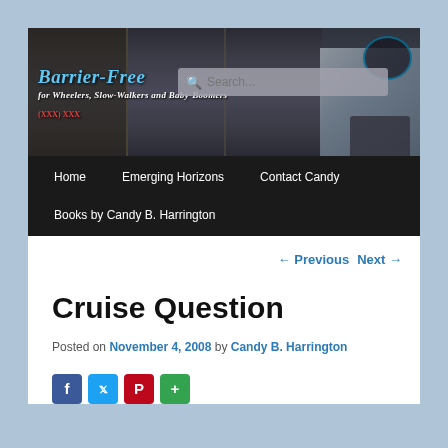[Figure (screenshot): Website header banner showing a street scene/storefront background with site title 'Barrier-Fr...' and tagline 'for Wheelers, Slow-Walkers and Baby-Boomers' overlaid in stylized text, with a search box overlay]
Home   Emerging Horizons   Contact Candy
Books by Candy B. Harrington
← Previous   Next →
Cruise Question
Posted on November 4, 2008 by Candy B. Harrington
[Figure (infographic): Social share icons: Facebook (blue), Twitter (blue), Pinterest (red), Share (green)]